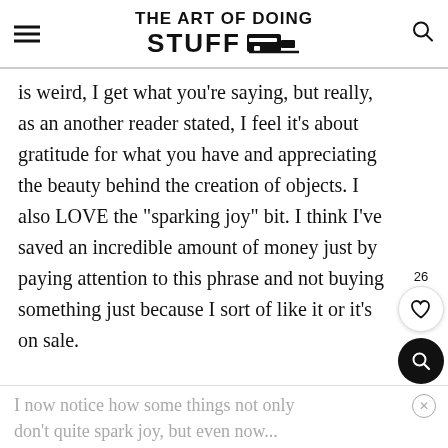THE ART OF DOING STUFF
is weird, I get what you're saying, but really, as an another reader stated, I feel it's about gratitude for what you have and appreciating the beauty behind the creation of objects. I also LOVE the "sparking joy" bit. I think I've saved an incredible amount of money just by paying attention to this phrase and not buying something just because I sort of like it or it's on sale.
I now notice how some things not only don't quite spark joy, but even now...